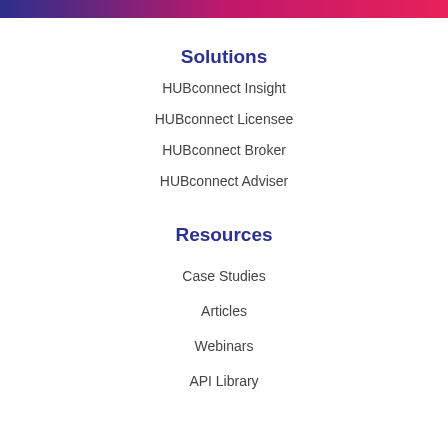[Figure (photo): Decorative banner strip with purple, pink, and magenta gradient colors at the top of the page]
Solutions
HUBconnect Insight
HUBconnect Licensee
HUBconnect Broker
HUBconnect Adviser
Resources
Case Studies
Articles
Webinars
API Library